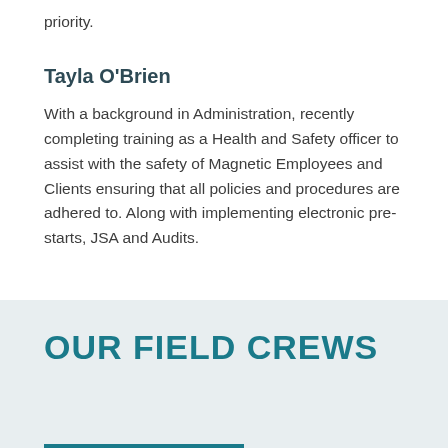priority.
Tayla O'Brien
With a background in Administration, recently completing training as a Health and Safety officer to assist with the safety of Magnetic Employees and Clients ensuring that all policies and procedures are adhered to. Along with implementing electronic pre-starts, JSA and Audits.
OUR FIELD CREWS